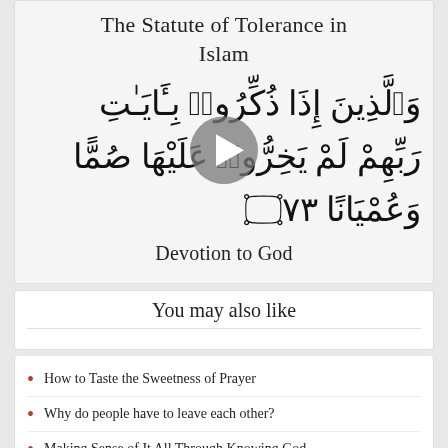The Statute of Tolerance in Islam
[Figure (other): Arabic Quranic verse with a circular play button overlay in the center]
Devotion to God
You may also like
How to Taste the Sweetness of Prayer
Why do people have to leave each other?
Making Sense of It All Through Knowing God
Faith in the Time of Corona
About the author